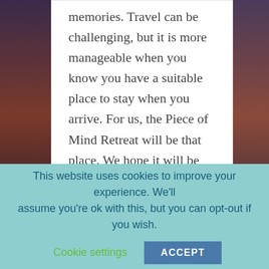memories. Travel can be challenging, but it is more manageable when you know you have a suitable place to stay when you arrive. For us, the Piece of Mind Retreat will be that place. We hope it will be for you as well. Read More...
FOR MORE AUTISM MOM RESOURCES, VISIT OUR OTHER SITE:
This website uses cookies to improve your experience. We'll assume you're ok with this, but you can opt-out if you wish.
Cookie settings   ACCEPT